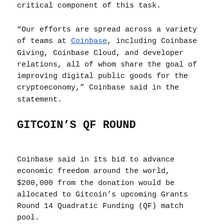critical component of this task.
“Our efforts are spread across a variety of teams at Coinbase, including Coinbase Giving, Coinbase Cloud, and developer relations, all of whom share the goal of improving digital public goods for the cryptoeconomy,” Coinbase said in the statement.
GITCOIN’S QF ROUND
Coinbase said in its bid to advance economic freedom around the world, $200,000 from the donation would be allocated to Gitcoin’s upcoming Grants Round 14 Quadratic Funding (QF) match pool.